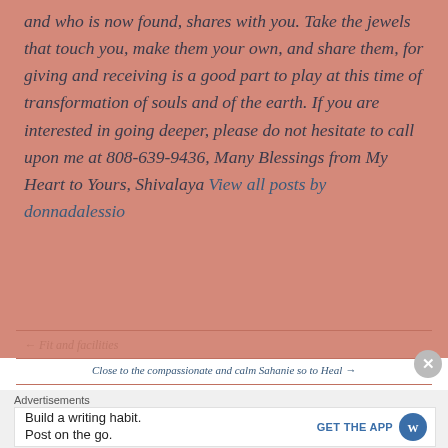and who is now found, shares with you. Take the jewels that touch you, make them your own, and share them, for giving and receiving is a good part to play at this time of transformation of souls and of the earth. If you are interested in going deeper, please do not hesitate to call upon me at 808-639-9436, Many Blessings from My Heart to Yours, Shivalaya View all posts by donnadalessio
← Fit and facilities
Close to the compassionate and calm Sahanie so to Heal →
Advertisements
Build a writing habit. Post on the go.
GET THE APP